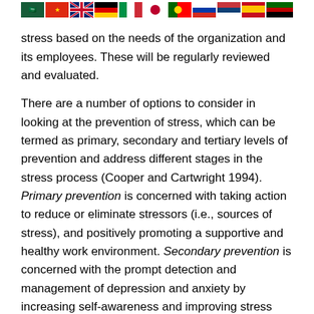[Figure (illustration): Row of country flags: Saudi Arabia, China, UK, Germany, Italy, Japan, Portugal, Russia, Serbia, Spain, Kenya]
include those ... stress based on the needs of the organization and its employees. These will be regularly reviewed and evaluated.
There are a number of options to consider in looking at the prevention of stress, which can be termed as primary, secondary and tertiary levels of prevention and address different stages in the stress process (Cooper and Cartwright 1994). Primary prevention is concerned with taking action to reduce or eliminate stressors (i.e., sources of stress), and positively promoting a supportive and healthy work environment. Secondary prevention is concerned with the prompt detection and management of depression and anxiety by increasing self-awareness and improving stress management skills. Tertiary prevention is concerned with the rehabilitation and recovery process of those individuals who have suffered or are suffering from serious ill health as a result of stress.
To develop an effective and comprehensive organizational